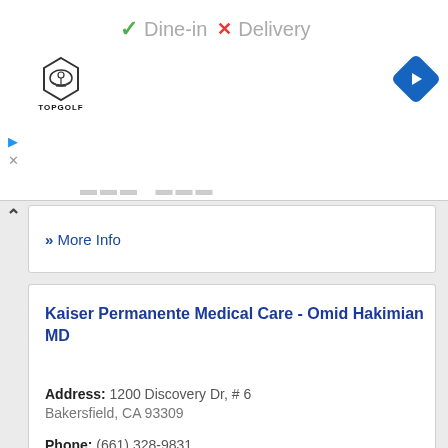[Figure (screenshot): Top advertisement area showing Dine-in checkmark, Delivery X mark, Topgolf logo, and navigation arrow icon]
» More Info
Kaiser Permanente Medical Care - Omid Hakimian MD
Address: 1200 Discovery Dr, # 6
Bakersfield, CA 93309
Phone: (661) 328-9831
» More Info
Kaiser Permanente Medical Care - Paul N Fuller MD